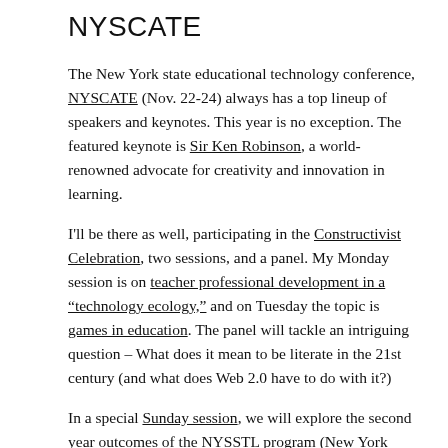NYSCATE
The New York state educational technology conference, NYSCATE (Nov. 22-24) always has a top lineup of speakers and keynotes. This year is no exception. The featured keynote is Sir Ken Robinson, a world-renowned advocate for creativity and innovation in learning.
I'll be there as well, participating in the Constructivist Celebration, two sessions, and a panel. My Monday session is on teacher professional development in a “technology ecology,” and on Tuesday the topic is games in education. The panel will tackle an intriguing question – What does it mean to be literate in the 21st century (and what does Web 2.0 have to do with it?)
In a special Sunday session, we will explore the second year outcomes of the NYSSTL program (New York State Student Technology Leaders) – more than 90 middle...